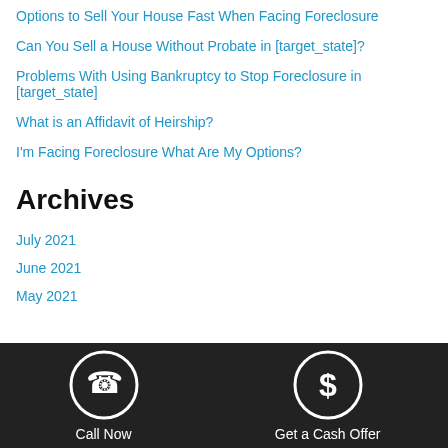Options to Sell Your House Fast When Facing Foreclosure
Can You Sell a House Without Probate in [target_state]?
Problems With Using Bankruptcy to Stop Foreclosure in [target_state]
What is an Affidavit of Heirship?
I'm Facing Foreclosure What Are My Options?
Archives
July 2021
June 2021
May 2021
Call Now  |  Get a Cash Offer